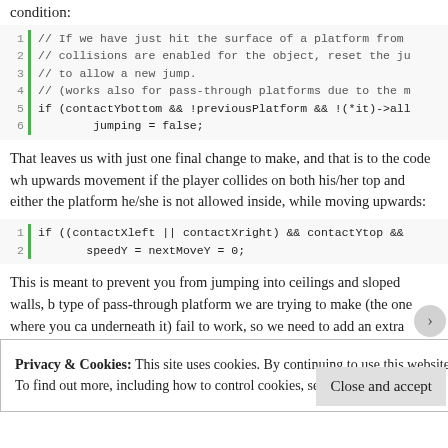condition:
[Figure (screenshot): Code block with 6 lines of C++ code with green left border and line numbers. Lines show comments about platform collision detection and a conditional statement with jumping = false.]
That leaves us with just one final change to make, and that is to the code wh upwards movement if the player collides on both his/her top and either the platform he/she is not allowed inside, while moving upwards:
[Figure (screenshot): Code block with 2 lines: if ((contactXleft || contactXright) && contactYtop && ... and speedY = nextMoveY = 0;]
This is meant to prevent you from jumping into ceilings and sloped walls, b type of pass-through platform we are trying to make (the one where you ca underneath it) fail to work, so we need to add an extra condition at the end:
[Figure (screenshot): Code block with 2 lines partially visible: if ((contactXleft || contactXright) && contactYtop && ... and speedY = nextMoveY = 0;]
Privacy & Cookies: This site uses cookies. By continuing to use this website, you agree to their use. To find out more, including how to control cookies, see here: Cookie Policy
Close and accept